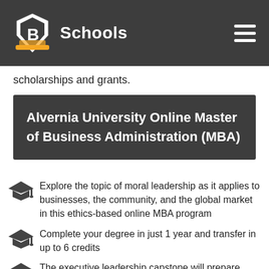Schools
scholarships and grants.
Alvernia University Online Master of Business Administration (MBA)
Explore the topic of moral leadership as it applies to businesses, the community, and the global market in this ethics-based online MBA program
Complete your degree in just 1 year and transfer in up to 6 credits
The executive leadership capstone will prepare